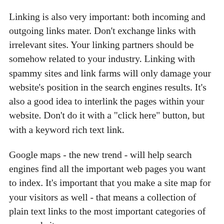Linking is also very important: both incoming and outgoing links mater. Don't exchange links with irrelevant sites. Your linking partners should be somehow related to your industry. Linking with spammy sites and link farms will only damage your website's position in the search engines results. It's also a good idea to interlink the pages within your website. Don't do it with a "click here" button, but with a keyword rich text link.
Google maps - the new trend - will help search engines find all the important web pages you want to index. It's important that you make a site map for your visitors as well - that means a collection of plain text links to the most important categories of your website.
And here's what you should never do: repeat words too often on a page - that's considered keyword stuffing and will get your site penalized. Also don't use hidden text on